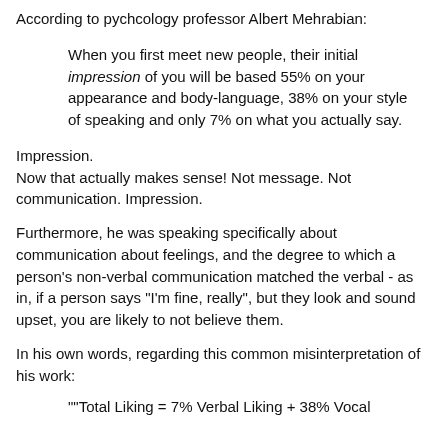According to pychcology professor Albert Mehrabian:
When you first meet new people, their initial impression of you will be based 55% on your appearance and body-language, 38% on your style of speaking and only 7% on what you actually say.
Impression.
Now that actually makes sense! Not message. Not communication. Impression.
Furthermore, he was speaking specifically about communication about feelings, and the degree to which a person's non-verbal communication matched the verbal - as in, if a person says "I'm fine, really", but they look and sound upset, you are likely to not believe them.
In his own words, regarding this common misinterpretation of his work:
""Total Liking = 7% Verbal Liking + 38% Vocal